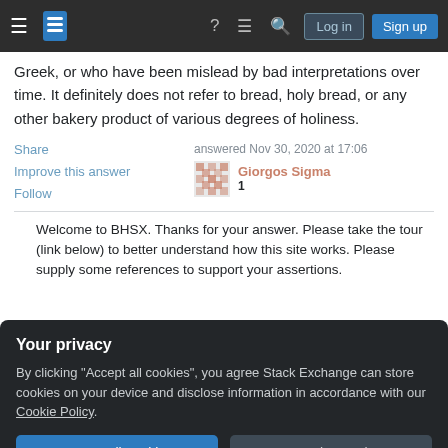Stack Exchange navigation bar with Log in and Sign up buttons
Greek, or who have been mislead by bad interpretations over time. It definitely does not refer to bread, holy bread, or any other bakery product of various degrees of holiness.
Share  Improve this answer  Follow  answered Nov 30, 2020 at 17:06  Giorgos Sigma  1
Welcome to BHSX. Thanks for your answer. Please take the tour (link below) to better understand how this site works. Please supply some references to support your assertions.
Your privacy
By clicking “Accept all cookies”, you agree Stack Exchange can store cookies on your device and disclose information in accordance with our Cookie Policy.
Accept all cookies    Customize settings
question. What Syriac Aramaic word or words are used in